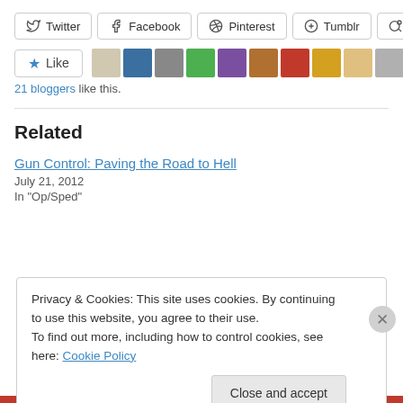[Figure (screenshot): Social share buttons row: Twitter, Facebook, Pinterest, Tumblr, Reddit]
[Figure (screenshot): Like button with star icon and strip of 11 blogger avatar thumbnails]
21 bloggers like this.
Related
Gun Control: Paving the Road to Hell
July 21, 2012
In "Op/Sped"
Privacy & Cookies: This site uses cookies. By continuing to use this website, you agree to their use.
To find out more, including how to control cookies, see here: Cookie Policy
Close and accept